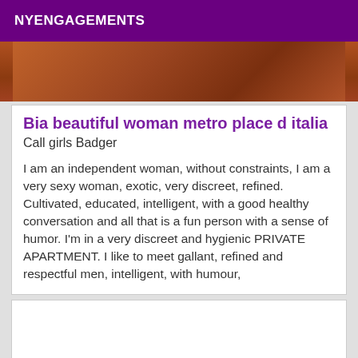NYENGAGEMENTS
[Figure (photo): Partial photo showing a tiled floor in reddish-orange tones]
Bia beautiful woman metro place d italia
Call girls Badger
I am an independent woman, without constraints, I am a very sexy woman, exotic, very discreet, refined. Cultivated, educated, intelligent, with a good healthy conversation and all that is a fun person with a sense of humor. I'm in a very discreet and hygienic PRIVATE APARTMENT. I like to meet gallant, refined and respectful men, intelligent, with humour,
[Figure (other): Empty white card/listing placeholder at bottom of page]